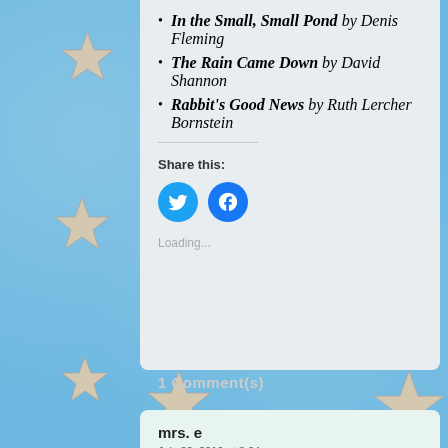In the Small, Small Pond by Denis Fleming
The Rain Came Down by David Shannon
Rabbit's Good News by Ruth Lercher Bornstein
Share this:
[Figure (other): Twitter and Facebook social share buttons (circular blue icons)]
Loading...
1 Comment(s)
mrs. e
July 30, 2016 at 8:04 pm